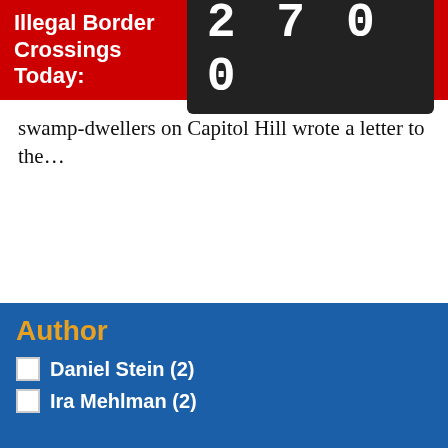Illegal Border Crossings Today: 2700
swamp-dwellers on Capitol Hill wrote a letter to the...
1  2  » ▶
Author
Daniel Stein (2)
Ira Mehlman (2)